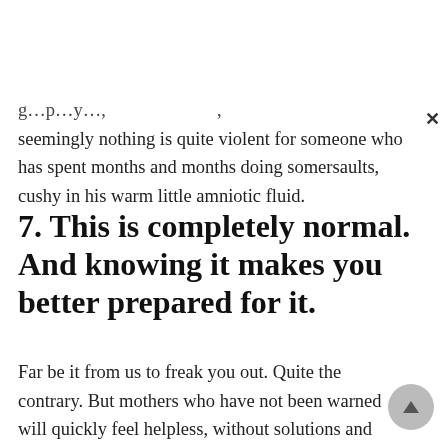seemingly nothing is quite violent for someone who has spent months and months doing somersaults, cushy in his warm little amniotic fluid.
7. This is completely normal. And knowing it makes you better prepared for it.
Far be it from us to freak you out. Quite the contrary. But mothers who have not been warned will quickly feel helpless, without solutions and quite quickly switch to the dark side of the force. Do